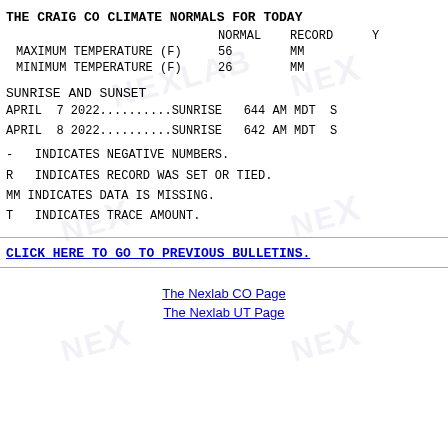THE CRAIG CO CLIMATE NORMALS FOR TODAY
|  | NORMAL | RECORD | Y |
| --- | --- | --- | --- |
| MAXIMUM TEMPERATURE (F) | 56 | MM |  |
| MINIMUM TEMPERATURE (F) | 26 | MM |  |
SUNRISE AND SUNSET
APRIL  7 2022..........SUNRISE   644 AM MDT  S
APRIL  8 2022..........SUNRISE   642 AM MDT  S
-   INDICATES NEGATIVE NUMBERS.
R   INDICATES RECORD WAS SET OR TIED.
MM  INDICATES DATA IS MISSING.
T   INDICATES TRACE AMOUNT.
CLICK HERE TO GO TO PREVIOUS BULLETINS.
The Nexlab CO Page
The Nexlab UT Page